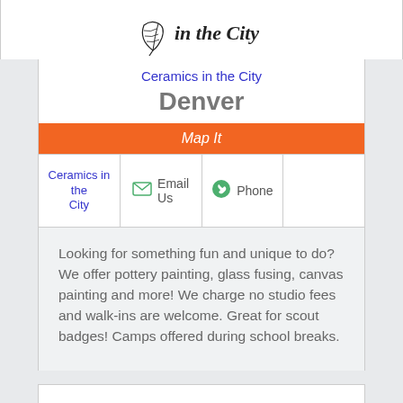[Figure (logo): Ceramics in the City logo with feather/pen icon and stylized text 'in the City']
Ceramics in the City
Denver
| Map It |
| Ceramics in the City | Email Us | Phone |  |
Looking for something fun and unique to do? We offer pottery painting, glass fusing, canvas painting and more! We charge no studio fees and walk-ins are welcome. Great for scout badges! Camps offered during school breaks.